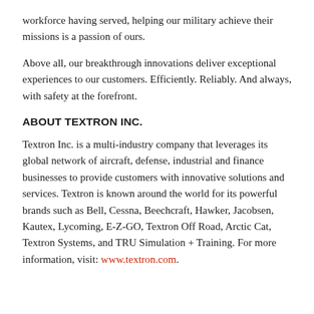workforce having served, helping our military achieve their missions is a passion of ours.
Above all, our breakthrough innovations deliver exceptional experiences to our customers. Efficiently. Reliably. And always, with safety at the forefront.
ABOUT TEXTRON INC.
Textron Inc. is a multi-industry company that leverages its global network of aircraft, defense, industrial and finance businesses to provide customers with innovative solutions and services. Textron is known around the world for its powerful brands such as Bell, Cessna, Beechcraft, Hawker, Jacobsen, Kautex, Lycoming, E-Z-GO, Textron Off Road, Arctic Cat, Textron Systems, and TRU Simulation + Training. For more information, visit: www.textron.com.